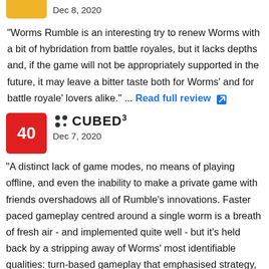[Figure (other): Yellow score badge (partially visible at top)]
Dec 8, 2020
"Worms Rumble is an interesting try to renew Worms with a bit of hybridation from battle royales, but it lacks depths and, if the game will not be appropriately supported in the future, it may leave a bitter taste both for Worms' and for battle royale' lovers alike." ... Read full review
[Figure (logo): Red score badge with score 40]
[Figure (logo): Cubed3 outlet logo]
Dec 7, 2020
"A distinct lack of game modes, no means of playing offline, and even the inability to make a private game with friends overshadows all of Rumble's innovations. Faster paced gameplay centred around a single worm is a breath of fresh air - and implemented quite well - but it's held back by a stripping away of Worms' most identifiable qualities: turn-based gameplay that emphasised strategy, destructible environments that continually redefined stages, and a